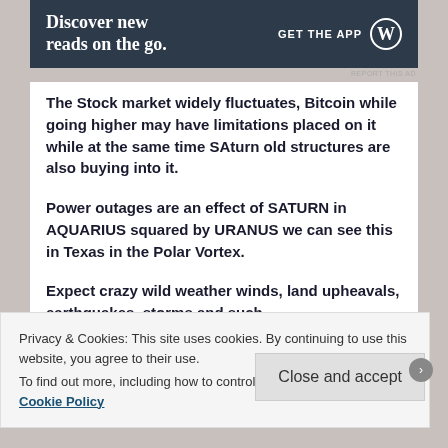[Figure (other): WordPress 'Discover new reads on the go. GET THE APP' advertisement banner with dark navy background and WordPress logo]
REPORT THIS AD
The Stock market widely fluctuates, Bitcoin while going higher may have limitations placed on it while at the same time SAturn old structures are also buying into it.
Power outages are an effect of SATURN in AQUARIUS squared by URANUS we can see this in Texas in the Polar Vortex.
Expect crazy wild weather winds, land upheavals, earthquakes, storms and such.
Privacy & Cookies: This site uses cookies. By continuing to use this website, you agree to their use.
To find out more, including how to control cookies, see here: Cookie Policy